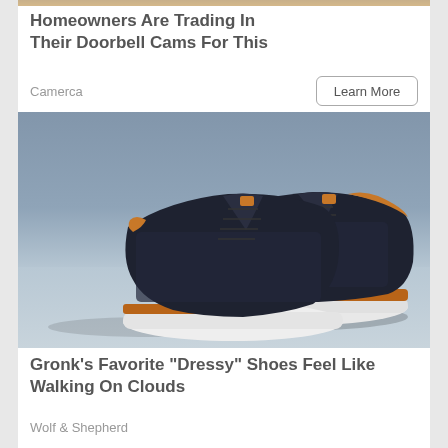[Figure (photo): Top cropped image strip showing sandy/earthy tones, partial product photo from upper ad]
Homeowners Are Trading In Their Doorbell Cams For This
Camerca
Learn More
[Figure (photo): Product photo of dark navy blue casual dress sneakers (Wolf & Shepherd brand) with tan leather accents and white soles, displayed on a light blue surface against a gray-blue background]
Gronk's Favorite "Dressy" Shoes Feel Like Walking On Clouds
Wolf & Shepherd